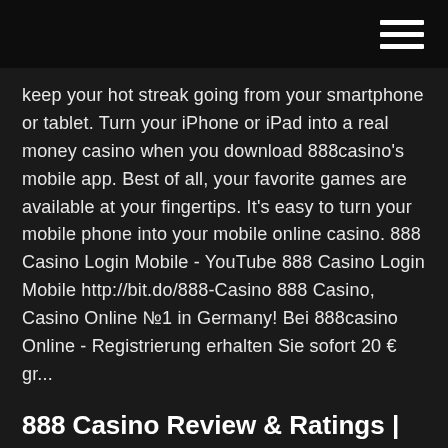keep your hot streak going from your smartphone or tablet. Turn your iPhone or iPad into a real money casino when you download 888casino's mobile app. Best of all, your favorite games are available at your fingertips. It's easy to turn your mobile phone into your mobile online casino. 888 Casino Login Mobile - YouTube 888 Casino Login Mobile http://bit.do/888-Casino 888 Casino, Casino Online №1 in Germany! Bei 888casino Online - Registrierung erhalten Sie sofort 20 € gr...
888 Casino Review & Ratings | DBestCasino.com
888 Casino: Online Casino | €88 Bonus Ohne Einzahlung Als 888 Casino Spieler erhalten Sie zahlreiche Aktionen und